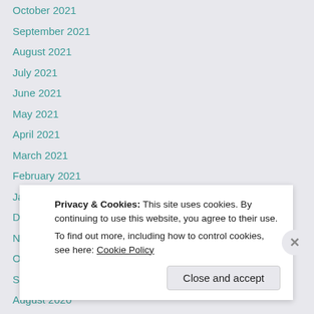October 2021
September 2021
August 2021
July 2021
June 2021
May 2021
April 2021
March 2021
February 2021
January 2021
December 2020
November 2020
October 2020
September 2020
August 2020
July 2020
Privacy & Cookies: This site uses cookies. By continuing to use this website, you agree to their use. To find out more, including how to control cookies, see here: Cookie Policy
Close and accept